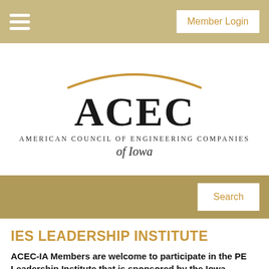Member Login
[Figure (logo): ACEC American Council of Engineering Companies of Iowa logo with gold arc above large ACEC letters]
Search
IES LEADERSHIP INSTITUTE
ACEC-IA Members are welcome to participate in the PE Leadership Institute that is sponsored by the Iowa Engineering